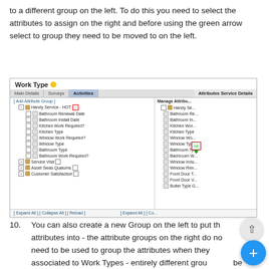to a different group on the left. To do this you need to select the attributes to assign on the right and before using the green arrow select to group they need to be moved to on the left.
[Figure (screenshot): Screenshot of 'Work Type' dialog with tabs: Main Details, Surveys, Activities, Attributes Service Details. Left panel shows a tree with Handy Service - HOT group containing items: Bathroom Renewal Date, Bathroom Install Date, Kitchen Work Required?, Kitchen Type, Window Work Required?, Window Type, Bathroom Type, Bathroom Work Required?. Also shows Service Visit, Asset Swa Qualums, Customer Satisfaction groups. Right panel shows Manage Attributes panel with similar items. A green arrow button is shown in the middle. Footer shows [Expand All] [Collapse All] [Reload].]
10. You can also create a new Group on the left to put the attributes into - the attribute groups on the right do not need to be used to group the attributes when they are associated to Work Types - entirely different groups can be used if required.